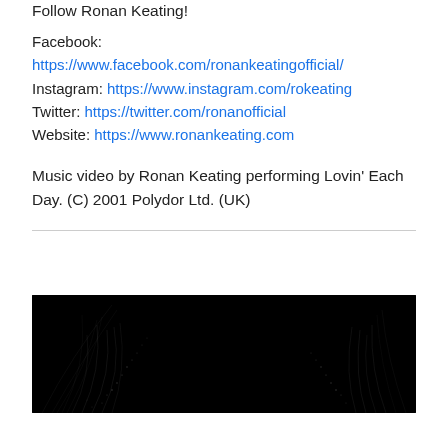Follow Ronan Keating!
Facebook:
https://www.facebook.com/ronankeatingofficial/
Instagram: https://www.instagram.com/rokeating
Twitter: https://twitter.com/ronanofficial
Website: https://www.ronankeating.com
Music video by Ronan Keating performing Lovin' Each Day. (C) 2001 Polydor Ltd. (UK)
[Figure (screenshot): Dark thumbnail image with abstract light streaks/patterns on black background, appears to be the beginning of a music video.]